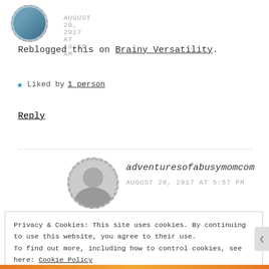AUGUST 20, 2017 AT 10:36 AM
Reblogged this on Brainy Versatility.
Liked by 1 person
Reply
adventuresofabusymomcom
AUGUST 20, 2017 AT 5:57 PM
Privacy & Cookies: This site uses cookies. By continuing to use this website, you agree to their use. To find out more, including how to control cookies, see here: Cookie Policy